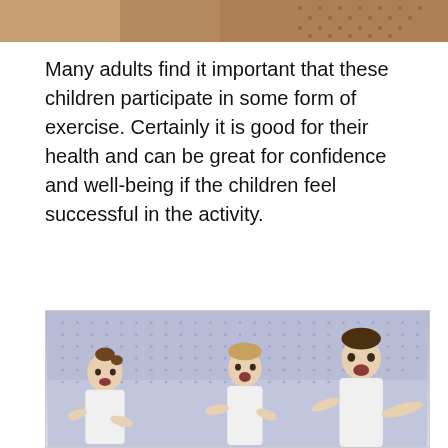[Figure (photo): Partial photo strip at top of page showing children in colorful dotted background setting]
Many adults find it important that these children participate in some form of exercise. Certainly it is good for their health and can be great for confidence and well-being if the children feel successful in the activity.
[Figure (photo): Three children in white clothing shown from waist up against a light lavender/blue dotted background, appearing excited with open mouths]